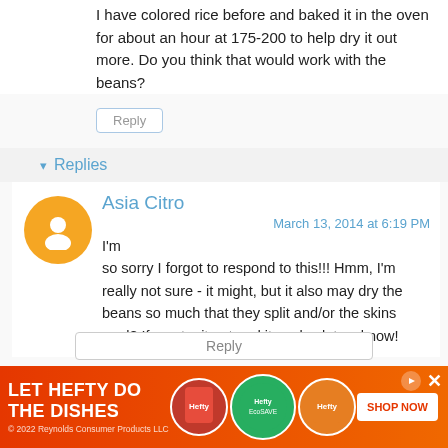I have colored rice before and baked it in the oven for about an hour at 175-200 to help dry it out more. Do you think that would work with the beans?
Reply
Replies
Asia Citro
March 13, 2014 at 6:19 PM
I'm so sorry I forgot to respond to this!!! Hmm, I'm really not sure - it might, but it also may dry the beans so much that they split and/or the skins peel? If you try it out and it works, let us know!
Reply
LET HEFTY DO THE DISHES © 2022 Reynolds Consumer Products LLC SHOP NOW